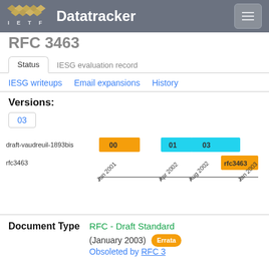IETF Datatracker
RFC 3463
Status | IESG evaluation record
IESG writeups | Email expansions | History
Versions:
03
[Figure (bar-chart): Timeline chart showing draft-vaudreuil-1893bis versions 00, 01, 03 and rfc3463]
Document Type
RFC - Draft Standard (January 2003) Errata